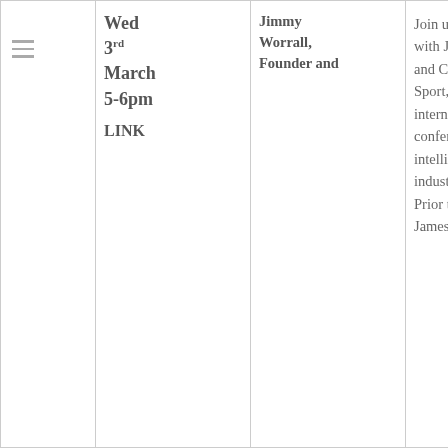|  | Date | Speaker | Description |
| --- | --- | --- | --- |
|  | Wed 3rd March 5-6pm
LINK | Jimmy Worrall, Founder and | Join us for a live Broadcast with James Worrall, Founder and CEO of Leaders in Sport, a London based internationally focused conference, training and intelligence service for industry leaders in sport. Prior to starting Leaders James |